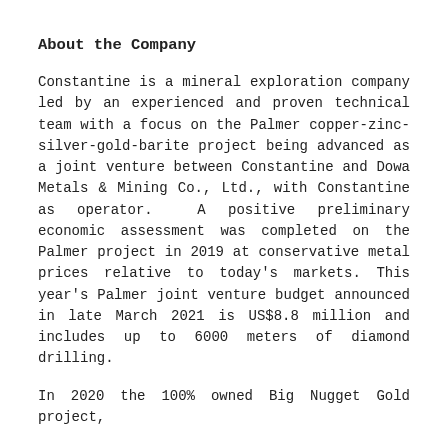About the Company
Constantine is a mineral exploration company led by an experienced and proven technical team with a focus on the Palmer copper-zinc-silver-gold-barite project being advanced as a joint venture between Constantine and Dowa Metals & Mining Co., Ltd., with Constantine as operator. A positive preliminary economic assessment was completed on the Palmer project in 2019 at conservative metal prices relative to today's markets. This year's Palmer joint venture budget announced in late March 2021 is US$8.8 million and includes up to 6000 meters of diamond drilling.
In 2020 the 100% owned Big Nugget Gold project,